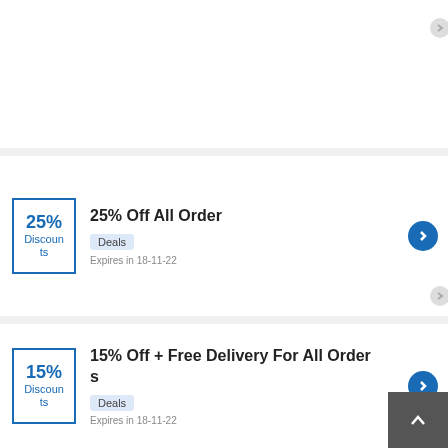5% Discounts — Deals — Expires in 18-11-22
25% Off All Order — Deals — Expires in 18-11-22
15% Off + Free Delivery For All Orders — Deals — Expires in 18-11-22
Bumper Protectors From £40.00 At Travall — Deals